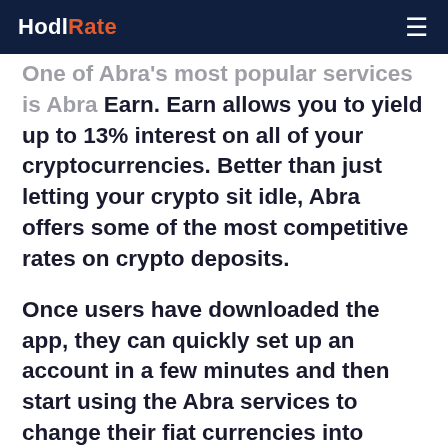HodlRate
One of Abra's most popular services is Abra Earn. Earn allows you to yield up to 13% interest on all of your cryptocurrencies. Better than just letting your crypto sit idle, Abra offers some of the most competitive rates on crypto deposits.
Once users have downloaded the app, they can quickly set up an account in a few minutes and then start using the Abra services to change their fiat currencies into cryptocurrency. This process is safe and secure while enabling users to do it with full confidence. Once your fiat currency has been exchanged with cryptocurrency, you'll start to